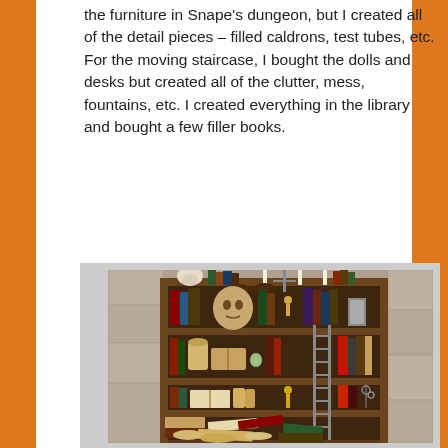the furniture in Snape's dungeon, but I created all of the detail pieces – filled caldrons, test tubes, etc. For the moving staircase, I bought the dolls and desks but created all of the clutter, mess, fountains, etc. I created everything in the library and bought a few filler books.
[Figure (photo): A detailed miniature bookshelf scene resembling a wizard's library, filled with books, scrolls, candles, a skull, a bat decoration, a ladder, and various magical objects and clutter on the shelves and floor.]